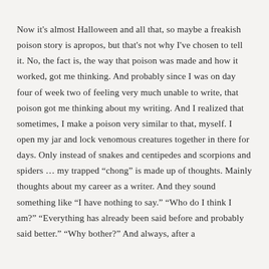Now it's almost Halloween and all that, so maybe a freakish poison story is apropos, but that's not why I've chosen to tell it. No, the fact is, the way that poison was made and how it worked, got me thinking. And probably since I was on day four of week two of feeling very much unable to write, that poison got me thinking about my writing. And I realized that sometimes, I make a poison very similar to that, myself. I open my jar and lock venomous creatures together in there for days. Only instead of snakes and centipedes and scorpions and spiders … my trapped “chong” is made up of thoughts. Mainly thoughts about my career as a writer. And they sound something like “I have nothing to say.” “Who do I think I am?” “Everything has already been said before and probably said better.” “Why bother?” And always, after a